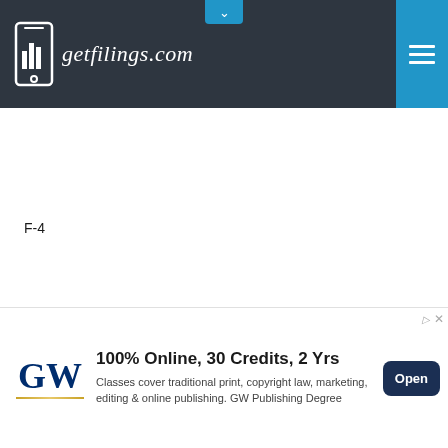[Figure (logo): getfilings.com logo with smartphone icon showing bar chart, white text on dark navy background]
F-4
[Figure (screenshot): Gray progress/scroll bar spanning the width of the page]
[Figure (screenshot): Advertisement banner for GW Publishing Degree: '100% Online, 30 Credits, 2 Yrs. Classes cover traditional print, copyright law, marketing, editing & online publishing. GW Publishing Degree' with Open button]